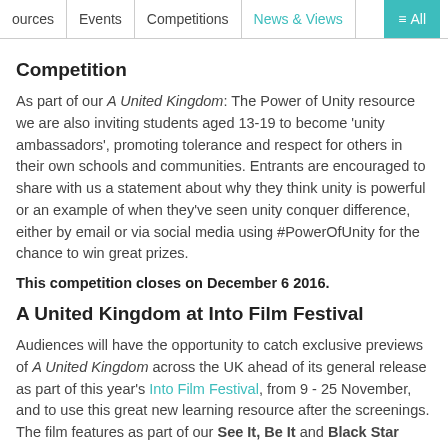ources | Events | Competitions | News & Views | ≡ All
Competition
As part of our A United Kingdom: The Power of Unity resource we are also inviting students aged 13-19 to become 'unity ambassadors', promoting tolerance and respect for others in their own schools and communities. Entrants are encouraged to share with us a statement about why they think unity is powerful or an example of when they've seen unity conquer difference, either by email or via social media using #PowerOfUnity for the chance to win great prizes.
This competition closes on December 6 2016.
A United Kingdom at Into Film Festival
Audiences will have the opportunity to catch exclusive previews of A United Kingdom across the UK ahead of its general release as part of this year's Into Film Festival, from 9 - 25 November, and to use this great new learning resource after the screenings. The film features as part of our See It, Be It and Black Star strands, which bring